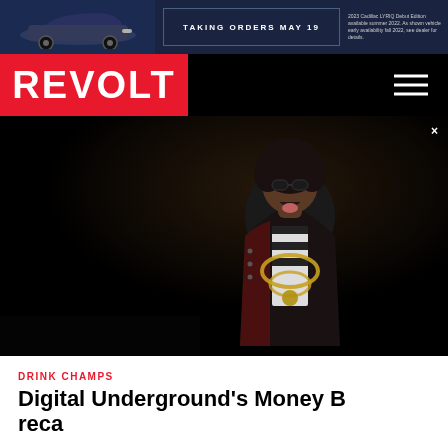[Figure (screenshot): Cadillac advertisement banner with dark blue background, car image on left, 'TAKING ORDERS MAY 19' text in center box, and small text on right about 2023 Cadillac LYRIQ availability]
[Figure (logo): REVOLT TV logo — white text on red background, hamburger menu icon on right black area]
[Figure (photo): Concert photo of Digital Underground performer, person with afro and sunglasses, mouth open with tongue out, wearing dark jacket with gold chains, on dark stage]
DRINK CHAMPS
Digital Underground's Money B reca personality and Shock G's
[Figure (screenshot): State Farm advertisement overlay banner — red background, State Farm logo on left, text 'Celebrate the strength of Black communities.' in white, X close button]